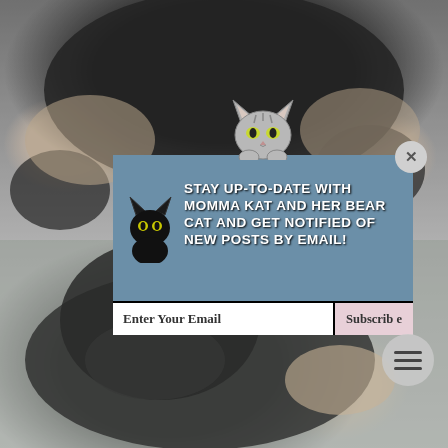[Figure (photo): Photo of a black cat being held by human hands, close-up of cat belly and paws against a light background, top portion of page]
[Figure (infographic): Email subscription popup overlay with cat cartoon icon on top, blue background with text 'Stay up-to-date with Momma Kat and her Bear Cat and get notified of new posts by email!', email input field and Subscribe button, close X button]
[Figure (photo): Photo of a black cat resting, being cuddled, close-up of cat face with whiskers visible, lower portion of page]